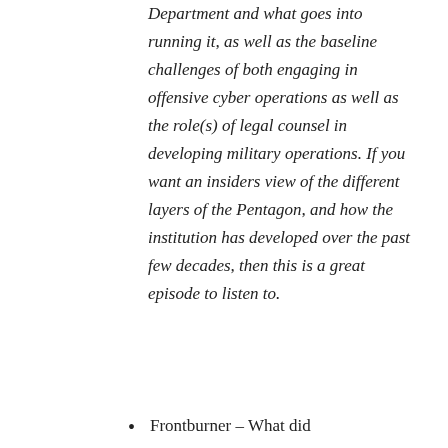Department and what goes into running it, as well as the baseline challenges of both engaging in offensive cyber operations as well as the role(s) of legal counsel in developing military operations. If you want an insiders view of the different layers of the Pentagon, and how the institution has developed over the past few decades, then this is a great episode to listen to.
Frontburner – What did